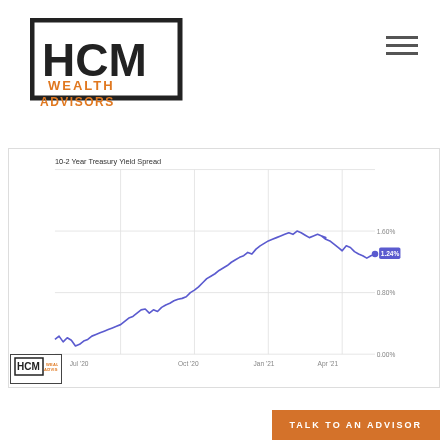[Figure (logo): HCM Wealth Advisors logo — black square bracket design with 'HCM' in bold black and 'WEALTH ADVISORS' in orange below]
[Figure (continuous-plot): Line chart showing 10-2 Year Treasury Yield Spread from approximately Jul 2020 to Jul 2021. The line starts near 0.40-0.50% in Jul 2020, rises steadily through early 2021, peaks around 1.60% in March-April 2021, then declines to 1.24% at the end. Current value label shows 1.24% highlighted in purple.]
[Figure (logo): Small HCM Wealth Advisors badge logo in bottom left]
TALK TO AN ADVISOR